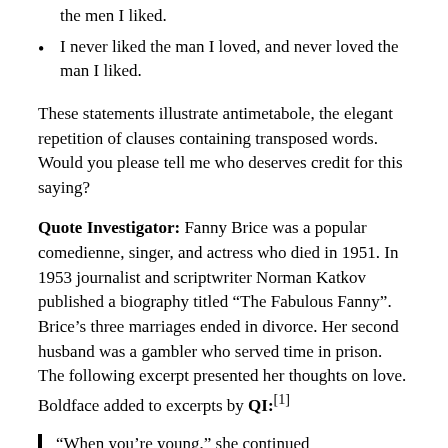the men I liked.
I never liked the man I loved, and never loved the man I liked.
These statements illustrate antimetabole, the elegant repetition of clauses containing transposed words. Would you please tell me who deserves credit for this saying?
Quote Investigator: Fanny Brice was a popular comedienne, singer, and actress who died in 1951. In 1953 journalist and scriptwriter Norman Katkov published a biography titled “The Fabulous Fanny”. Brice’s three marriages ended in divorce. Her second husband was a gambler who served time in prison. The following excerpt presented her thoughts on love. Boldface added to excerpts by QI:[1]
“When you’re young,” she continued